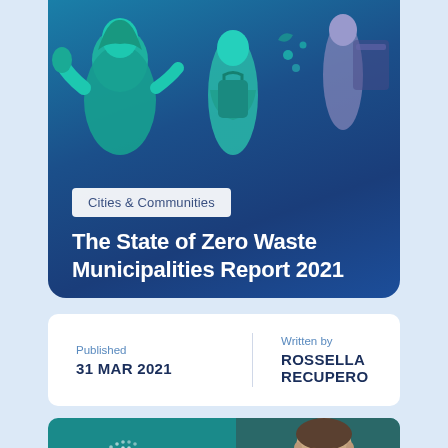[Figure (illustration): Hero card with blue gradient background showing illustrated figures of people sorting/recycling waste. Category badge reading 'Cities & Communities'. Title 'The State of Zero Waste Municipalities Report 2021' in white text.]
The State of Zero Waste Municipalities Report 2021
Cities & Communities
Published
31 MAR 2021
Written by
ROSSELLA RECUPERO
[Figure (logo): Zero Waste Europe logo with dotted globe pattern and text 'ZERO WASTE EUROPE' on teal background, alongside a photo of a man speaking.]